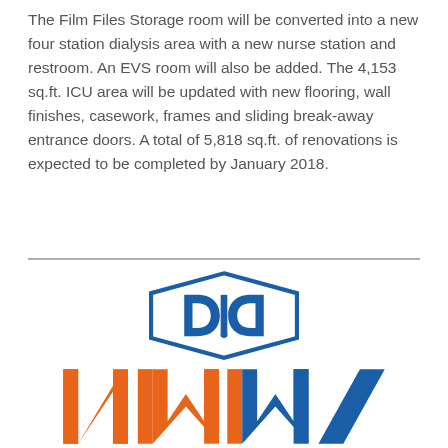The Film Files Storage room will be converted into a new four station dialysis area with a new nurse station and restroom. An EVS room will also be added. The 4,153 sq.ft. ICU area will be updated with new flooring, wall finishes, casework, frames and sliding break-away entrance doors. A total of 5,818 sq.ft. of renovations is expected to be completed by January 2018.
[Figure (logo): Company logo with a blue hexagonal badge containing a stylized D letter mark, above large orange and blue block letters NMM]